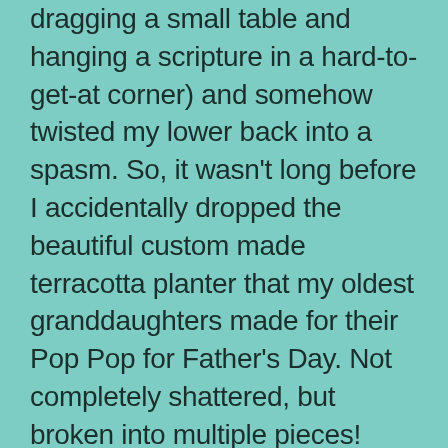dragging a small table and hanging a scripture in a hard-to-get-at corner) and somehow twisted my lower back into a spasm. So, it wasn't long before I accidentally dropped the beautiful custom made terracotta planter that my oldest granddaughters made for their Pop Pop for Father's Day. Not completely shattered, but broken into multiple pieces!
There it was. Three unfortunate happenings. While there are medications for ear pressure and back spasms, there is nothing that can replace the thoughtful artwork of two very sweet granddaughters using their own pink handprints to bless their Pop Pop with his favorite flamingos. So, after asking for forgiveness and feeling pretty low, I set about gluing the pot back together. The photo does not show the extent of breakage and the number of glued cracks, but it does show a feeble